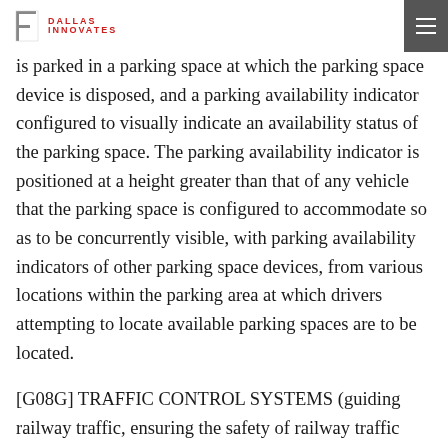Dallas Innovates
is parked in a parking space at which the parking space device is disposed, and a parking availability indicator configured to visually indicate an availability status of the parking space. The parking availability indicator is positioned at a height greater than that of any vehicle that the parking space is configured to accommodate so as to be concurrently visible, with parking availability indicators of other parking space devices, from various locations within the parking area at which drivers attempting to locate available parking spaces are to be located.
[G08G] TRAFFIC CONTROL SYSTEMS (guiding railway traffic, ensuring the safety of railway traffic B61L; radar or analogous systems, sonar systems or lidar systems specially adapted for traffic control G01S 13/91, G01S 15/88, G01S 17/88; radar or